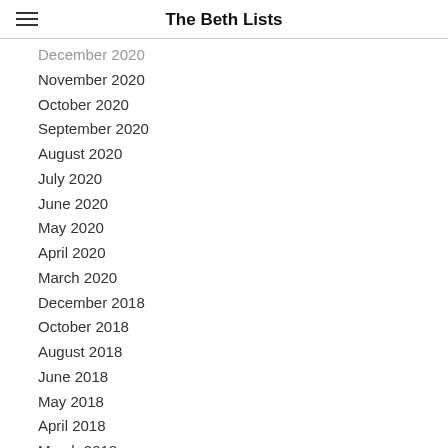The Beth Lists
December 2020
November 2020
October 2020
September 2020
August 2020
July 2020
June 2020
May 2020
April 2020
March 2020
December 2018
October 2018
August 2018
June 2018
May 2018
April 2018
March 2018
February 2018